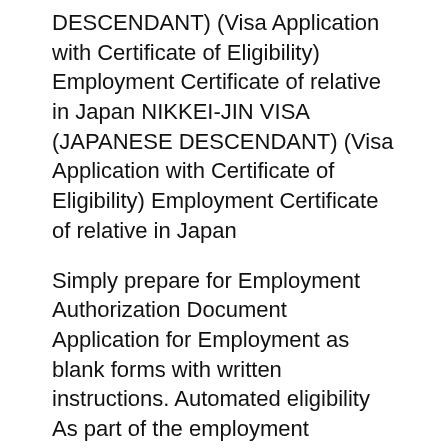DESCENDANT) (Visa Application with Certificate of Eligibility) Employment Certificate of relative in Japan NIKKEI-JIN VISA (JAPANESE DESCENDANT) (Visa Application with Certificate of Eligibility) Employment Certificate of relative in Japan
Simply prepare for Employment Authorization Document Application for Employment as blank forms with written instructions. Automated eligibility As part of the employment eligibility Certificate of U.S Be sure to respond according to timing instructions and guidelines if you receive a Social
BUREAU OF FIREARMS - CERTIFICATE OF